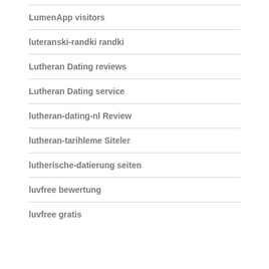LumenApp visitors
luteranski-randki randki
Lutheran Dating reviews
Lutheran Dating service
lutheran-dating-nl Review
lutheran-tarihleme Siteler
lutherische-datierung seiten
luvfree bewertung
luvfree gratis